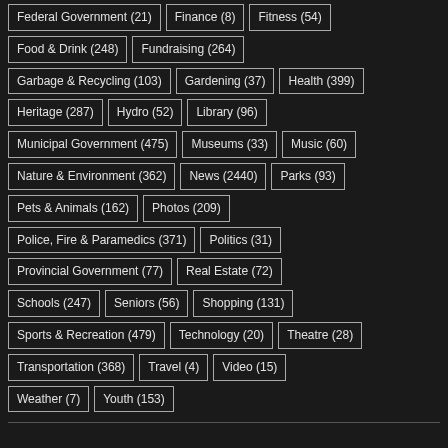Federal Government (21)
Finance (8)
Fitness (54)
Food & Drink (248)
Fundraising (264)
Garbage & Recycling (103)
Gardening (37)
Health (399)
Heritage (287)
Hydro (52)
Library (96)
Municipal Government (475)
Museums (33)
Music (60)
Nature & Environment (362)
News (2440)
Parks (93)
Pets & Animals (162)
Photos (209)
Police, Fire & Paramedics (371)
Politics (31)
Provincial Government (77)
Real Estate (72)
Schools (247)
Seniors (56)
Shopping (131)
Sports & Recreation (479)
Technology (20)
Theatre (28)
Transportation (368)
Travel (4)
Video (15)
Weather (7)
Youth (153)